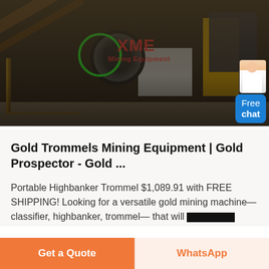[Figure (photo): Mining equipment facility photo with XME logo overlay, showing industrial crushers, conveyor belts, and mining machinery. A chat assistant widget with 'Free chat' button appears in the bottom-right corner.]
Gold Trommels Mining Equipment | Gold Prospector - Gold ...
Portable Highbanker Trommel $1,089.91 with FREE SHIPPING! Looking for a versatile gold mining machine— classifier, highbanker, trommel— that will
Get a Quote
WhatsApp